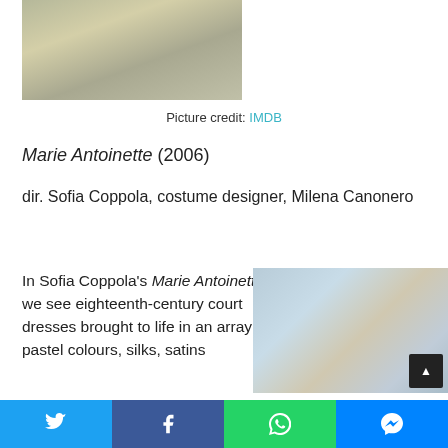[Figure (photo): Close-up of a woman in an eighteenth-century floral dress holding a cup, from the film Marie Antoinette]
Picture credit: IMDB
Marie Antoinette (2006)
dir. Sofia Coppola, costume designer, Milena Canonero
In Sofia Coppola's Marie Antoinette, we see eighteenth-century court dresses brought to life in an array of pastel colours, silks, satins
[Figure (photo): An eighteenth-century style court dress (blue satin with lace trim) on a dressmaker's mannequin]